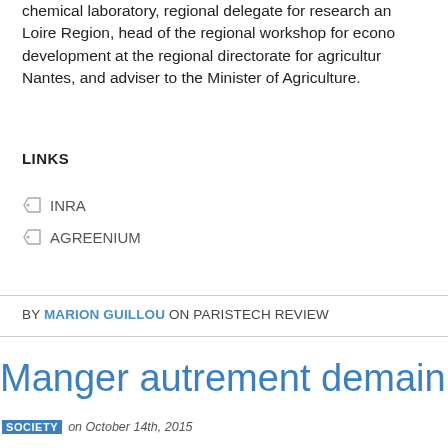chemical laboratory, regional delegate for research and Loire Region, head of the regional workshop for economic development at the regional directorate for agriculture in Nantes, and adviser to the Minister of Agriculture.
LINKS
INRA
AGREENIUM
BY MARION GUILLOU ON PARISTECH REVIEW
Manger autrement demain
SOCIETY on October 14th, 2015